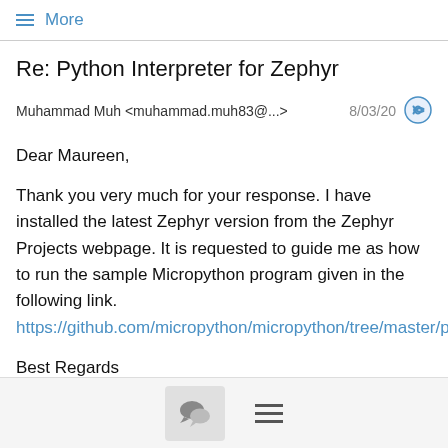≡ More
Re: Python Interpreter for Zephyr
Muhammad Muh <muhammad.muh83@...>   8/03/20
Dear Maureen,

Thank you very much for your response. I have installed the latest Zephyr version from the Zephyr Projects webpage. It is requested to guide me as how to run the sample Micropython program given in the following link.
https://github.com/micropython/micropython/tree/master/ports/zephyr

Best Regards